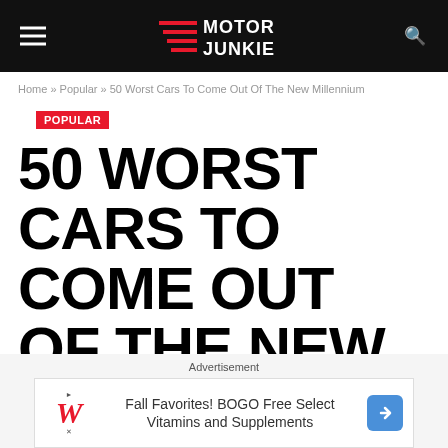Motor Junkie
Home » Popular » 50 Worst Cars To Come Out Of The New Millennium
POPULAR
50 WORST CARS TO COME OUT OF THE NEW MILLENNIUM
Cameron Eittreim × May 25, 2022
Advertisement
[Figure (other): Walgreens advertisement banner: Fall Favorites! BOGO Free Select Vitamins and Supplements]